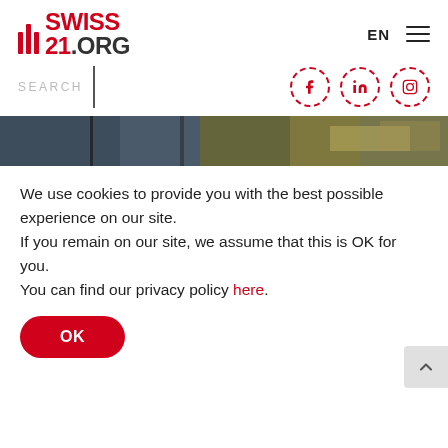[Figure (logo): Swiss21.org logo with red vertical bars and red bold text SWISS21.ORG]
EN
[Figure (illustration): Hamburger menu icon (three horizontal lines)]
SEARCH
[Figure (illustration): Social media icons for Facebook, LinkedIn, and Instagram in red dashed circles]
[Figure (photo): Partial photo strip showing what appears to be a train station or indoor space]
We use cookies to provide you with the best possible experience on our site.
If you remain on our site, we assume that this is OK for you.
You can find our privacy policy here.
[Figure (illustration): OK button - red rounded rectangle with white OK text]
[Figure (illustration): Back to top button - grey square with upward chevron]